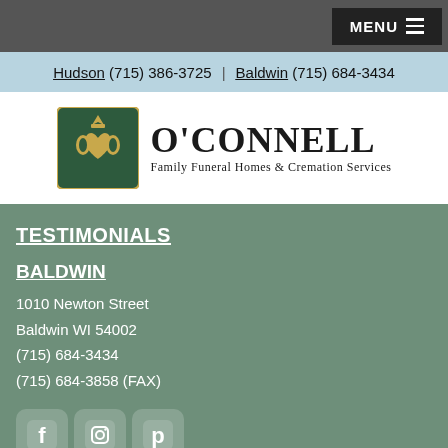MENU
Hudson (715) 386-3725 | Baldwin (715) 684-3434
[Figure (logo): O'Connell Family Funeral Homes & Cremation Services logo with green claddagh emblem]
TESTIMONIALS
BALDWIN
1010 Newton Street
Baldwin WI 54002
(715) 684-3434
(715) 684-3858 (FAX)
[Figure (logo): Social media icons: Facebook, Instagram, Pinterest]
[Figure (logo): Google logo/badge]